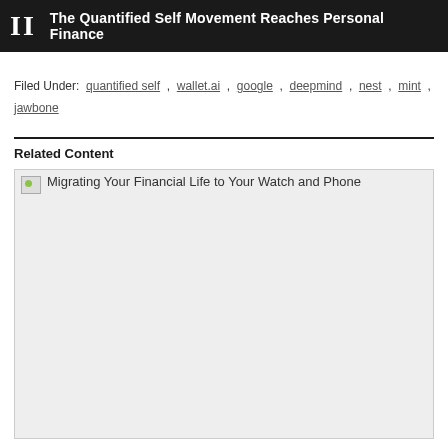II  The Quantified Self Movement Reaches Personal Finance
Filed Under:  quantified self , wallet.ai , google , deepmind , nest , mint , jawbone
Related Content
[Figure (photo): Broken image placeholder with alt text: Migrating Your Financial Life to Your Watch and Phone]